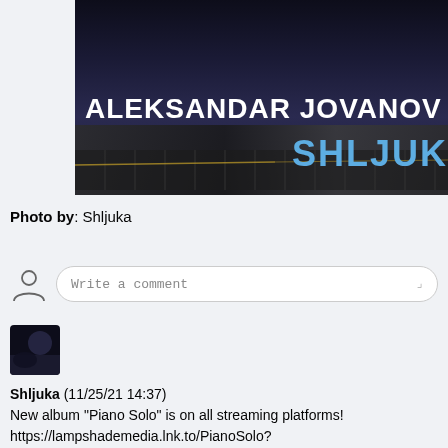[Figure (photo): Album cover image showing 'ALEKSANDAR JOVANOV' in bold white text and 'SHLJUK' in bold cyan/blue text, with a dark background featuring a piano and silhouette figure]
Photo by: Shljuka
[Figure (screenshot): Comment input box with person icon and placeholder text 'Write a comment']
[Figure (photo): Small square avatar thumbnail - dark image]
Shljuka (11/25/21 14:37)
New album "Piano Solo" is on all streaming platforms!
https://lampshademedia.lnk.to/PianoSolo?
fbclid=IwAR3l_DPA5rMl49EmRWIxKPGu3buC7xQKbPpqZX7llNPMGab